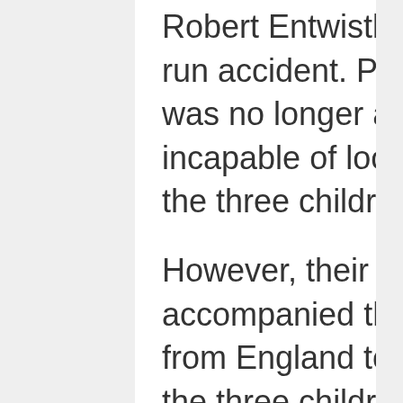Robert Entwistle was the victim of a hit and run accident. Presumably, his second wife was no longer around by this time – or incapable of looking after the family – as the three children were adrift.
However, their uncle had also accompanied the family when they moved from England to America and he took in the three children. He was the manager of a well-known Broadway actor.
This fact determined Peg's future.
She embarked upon a